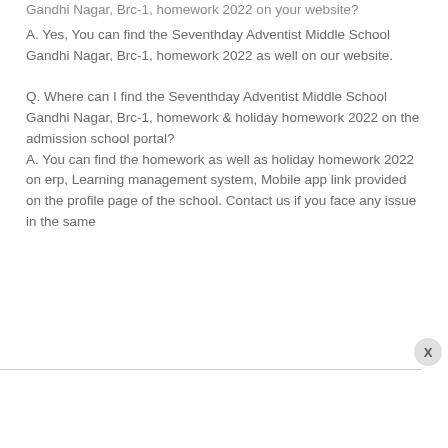Gandhi Nagar, Brc-1, homework 2022 on your website?
A. Yes, You can find the Seventhday Adventist Middle School Gandhi Nagar, Brc-1, homework 2022 as well on our website.
Q. Where can I find the Seventhday Adventist Middle School Gandhi Nagar, Brc-1, homework & holiday homework 2022 on the admission school portal?
A. You can find the homework as well as holiday homework 2022 on erp, Learning management system, Mobile app link provided on the profile page of the school. Contact us if you face any issue in the same